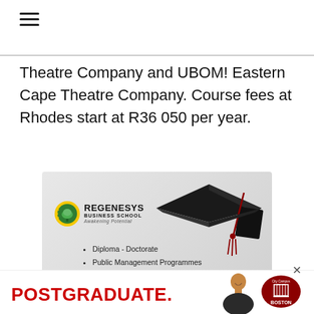[Figure (other): Hamburger menu icon (three horizontal lines)]
Theatre Company and UBOM! Eastern Cape Theatre Company. Course fees at Rhodes start at R36 050 per year.
[Figure (illustration): Regenesys Business School advertisement featuring a graduation cap, logo with tree emblem, and bullet points: Diploma - Doctorate, Public Management Programmes, Digital Courses]
[Figure (infographic): Bottom advertisement banner: POSTGRADUATE. text in red, photo of smiling man, Boston City Campus badge logo]